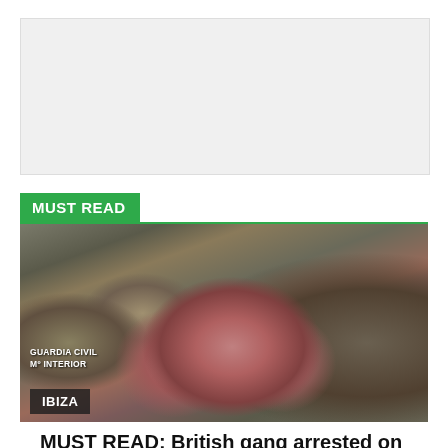[Figure (other): Gray advertisement placeholder box]
MUST READ
[Figure (photo): Photo of drug seizure showing bags of pink pills and other substances on a table, labeled GUARDIA CIVIL Mº INTERIOR. Location tag: IBIZA]
MUST READ: British gang arrested on Spain's Ibiza in country's biggest-ever 'pink